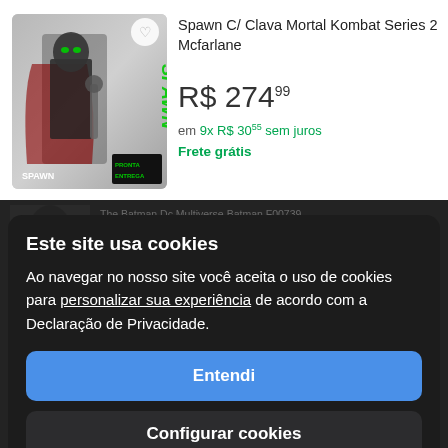[Figure (screenshot): Product listing image for Spawn C/ Clava Mortal Kombat Series 2 Mcfarlane figure with PRONTA ENTREGA banner]
Spawn C/ Clava Mortal Kombat Series 2 Mcfarlane
R$ 274,99
em 9x R$ 30,55 sem juros
Frete grátis
The Batman Dc Multiverse Batman F00739 Mcfarlane
Frete grátis
Este site usa cookies
Ao navegar no nosso site você aceita o uso de cookies para personalizar sua experiência de acordo com a Declaração de Privacidade.
Entendi
DC Multiverse Justice League 2021 Darkseid Armored Mcfarlane
R$ 477,--
em 12x R$ 46,23
Configurar cookies